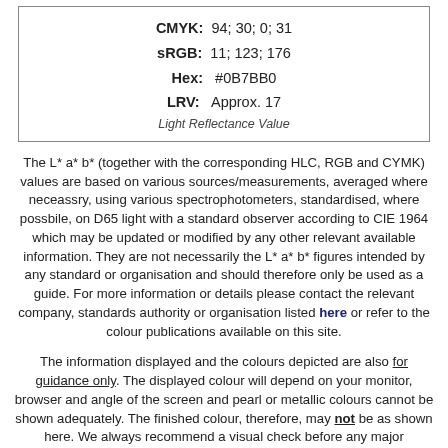| CMYK: | 94; 30; 0; 31 |
| sRGB: | 11; 123; 176 |
| Hex: | #0B7BB0 |
| LRV: | Approx. 17 |
|  | Light Reflectance Value |
The L* a* b* (together with the corresponding HLC, RGB and CYMK) values are based on various sources/measurements, averaged where neceassry, using various spectrophotometers, standardised, where possbile, on D65 light with a standard observer according to CIE 1964 which may be updated or modified by any other relevant available information. They are not necessarily the L* a* b* figures intended by any standard or organisation and should therefore only be used as a guide. For more information or details please contact the relevant company, standards authority or organisation listed here or refer to the colour publications available on this site.
The information displayed and the colours depicted are also for guidance only. The displayed colour will depend on your monitor, browser and angle of the screen and pearl or metallic colours cannot be shown adequately. The finished colour, therefore, may not be as shown here. We always recommend a visual check before any major purchase.
The sRGB conversion system used is IEC 61966:2-1 D50 adapted